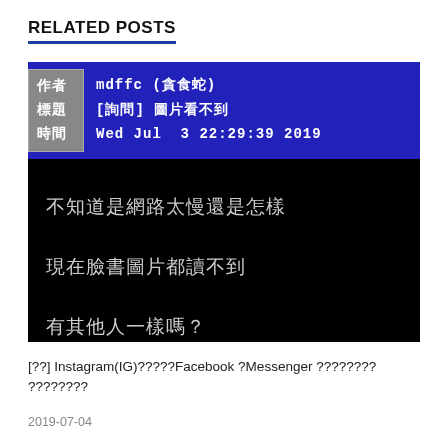RELATED POSTS
[Figure (screenshot): A BBS-style forum post screenshot showing: Author mdffc (貪食蛇), Title [詢問] 圖片看不到, Time Wed Jul 3 22:29:39 2019, Body text: 不知道是網路太慢還是怎樣 / 現在臉書圖片都讀不到 / 有其他人一樣嗎？]
[??] Instagram(IG)????????Facebook ?Messenger ????????????????
2019-07-04